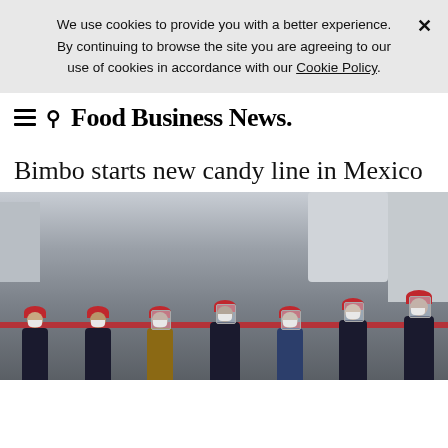We use cookies to provide you with a better experience. By continuing to browse the site you are agreeing to our use of cookies in accordance with our Cookie Policy.
Food Business News
Bimbo starts new candy line in Mexico
[Figure (photo): Group of people wearing red hard hats and face masks/shields standing in a factory setting, appearing to cut a red ribbon at a ribbon-cutting ceremony for a new candy production line.]